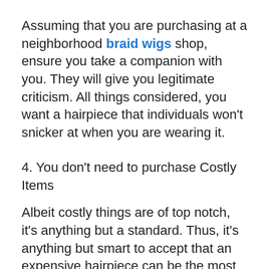Assuming that you are purchasing at a neighborhood braid wigs shop, ensure you take a companion with you. They will give you legitimate criticism. All things considered, you want a hairpiece that individuals won't snicker at when you are wearing it.
4. You don't need to purchase Costly Items
Albeit costly things are of top notch, it's anything but a standard. Thus, it's anything but smart to accept that an expensive hairpiece can be the most ideal decision for you. Indeed, there are a ton of cheap hairpieces that can be on par with very good quality ones.